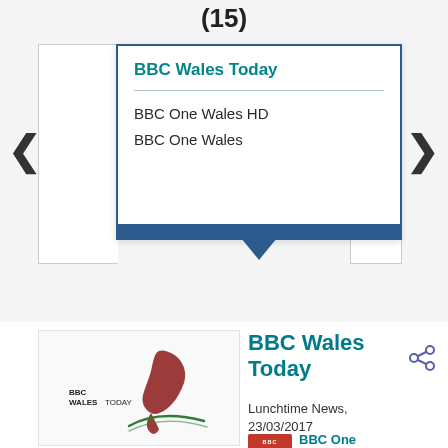(15)
BBC Wales Today
BBC One Wales HD
BBC One Wales
[Figure (screenshot): BBC Wales Today programme logo with map of Wales silhouette in dark red and green swoosh]
BBC Wales Today
Lunchtime News, 23/03/2017
BBC One Wales